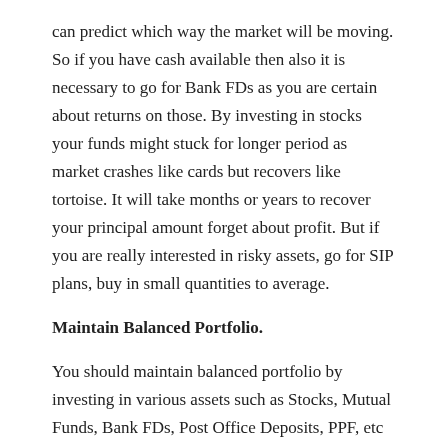can predict which way the market will be moving. So if you have cash available then also it is necessary to go for Bank FDs as you are certain about returns on those. By investing in stocks your funds might stuck for longer period as market crashes like cards but recovers like tortoise. It will take months or years to recover your principal amount forget about profit. But if you are really interested in risky assets, go for SIP plans, buy in small quantities to average.
Maintain Balanced Portfolio.
You should maintain balanced portfolio by investing in various assets such as Stocks, Mutual Funds, Bank FDs, Post Office Deposits, PPF, etc to stay protected from erosion of Capital.